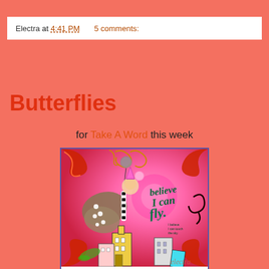Electra at 4:41 PM    5 comments:
Butterflies
for Take A Word this week
[Figure (illustration): Mixed media digital art collage showing a child with butterfly wings holding a balloon, surrounded by decorative swirls, buildings at bottom, and text reading 'believe I can fly / I believe I can touch the sky']